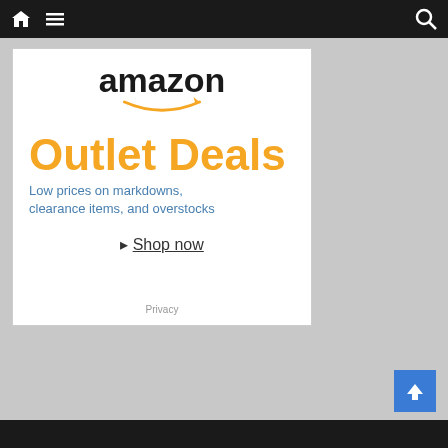Navigation bar with home icon, menu icon, and search icon
[Figure (screenshot): Amazon Outlet Deals advertisement. Shows Amazon logo at top, large orange text 'Outlet Deals', blue subtext 'Low prices on markdowns, clearance items, and overstocks', and a 'Shop now' link. Privacy link at bottom.]
Bottom navigation bar